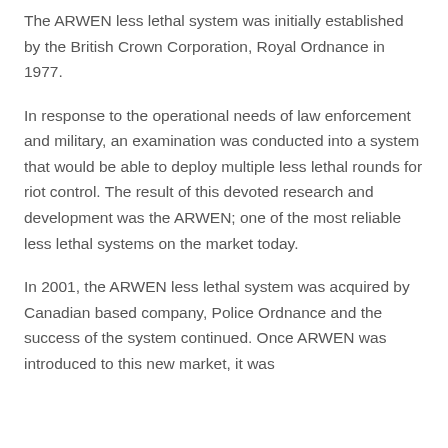The ARWEN less lethal system was initially established by the British Crown Corporation, Royal Ordnance in 1977.
In response to the operational needs of law enforcement and military, an examination was conducted into a system that would be able to deploy multiple less lethal rounds for riot control. The result of this devoted research and development was the ARWEN; one of the most reliable less lethal systems on the market today.
In 2001, the ARWEN less lethal system was acquired by Canadian based company, Police Ordnance and the success of the system continued. Once ARWEN was introduced to this new market, it was...